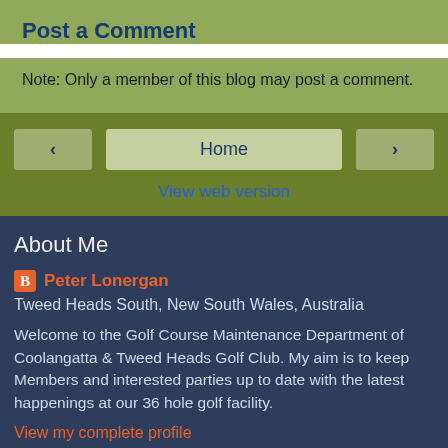Post a Comment
Note: Only a member of this blog may post a comment.
◄   Home   ►
View web version
About Me
Peter Lonergan
Tweed Heads South, New South Wales, Australia
Welcome to the Golf Course Maintenance Department of Coolangatta & Tweed Heads Golf Club. My aim is to keep Members and interested parties up to date with the latest happenings at our 36 hole golf facility.
View my complete profile
Powered by Blogger.